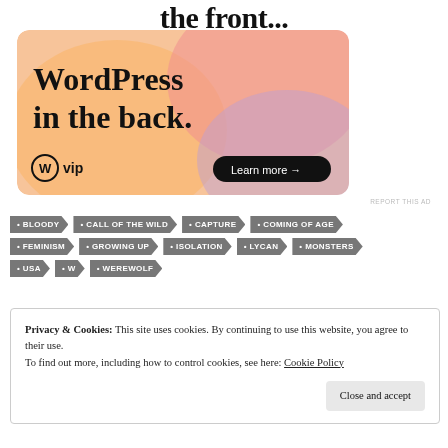the front...
[Figure (illustration): WordPress VIP advertisement banner with gradient orange-pink-purple background. Large bold text reads 'WordPress in the back.' with WordPress VIP logo and 'Learn more →' button.]
REPORT THIS AD
BLOODY
CALL OF THE WILD
CAPTURE
COMING OF AGE
FEMINISM
GROWING UP
ISOLATION
LYCAN
MONSTERS
USA
W
WEREWOLF
Privacy & Cookies: This site uses cookies. By continuing to use this website, you agree to their use. To find out more, including how to control cookies, see here: Cookie Policy
Close and accept